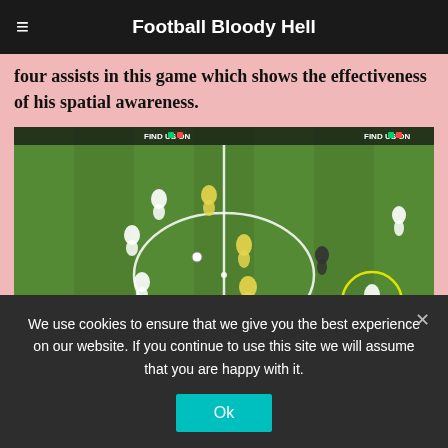Football Bloody Hell
four assists in this game which shows the effectiveness of his spatial awareness.
[Figure (photo): Football match aerial screenshot showing players on a grass pitch with center circle visible, a player highlighted with a yellow circle on the right side, and 'FIND US ON' text banners visible at the top]
We use cookies to ensure that we give you the best experience on our website. If you continue to use this site we will assume that you are happy with it.